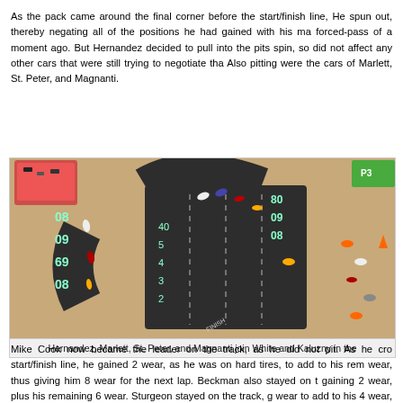As the pack came around the final corner before the start/finish line, He spun out, thereby negating all of the positions he had gained with his ma forced-pass of a moment ago. But Hernandez decided to pull into the pits spin, so did not affect any other cars that were still trying to negotiate tha Also pitting were the cars of Marlett, St. Peter, and Magnanti.
[Figure (photo): Overhead view of a tabletop board game race track with miniature formula one car models positioned on a dark track surface with numbered grid sections. Orange storage box visible in top left corner.]
Hernandez, Marlett, St. Peter, and Magnanti join White and Kaluzny in the
Mike Cook now became the leader on the track, as he did not pit. As he cro start/finish line, he gained 2 wear, as he was on hard tires, to add to his rem wear, thus giving him 8 wear for the next lap. Beckman also stayed on t gaining 2 wear, plus his remaining 6 wear. Sturgeon stayed on the track, g wear to add to his 4 wear, and Kempen also stayed out, adding 2 wea remaining 2 wear for the 2nd lap. Jim Landis and Brian Robinson now pit...